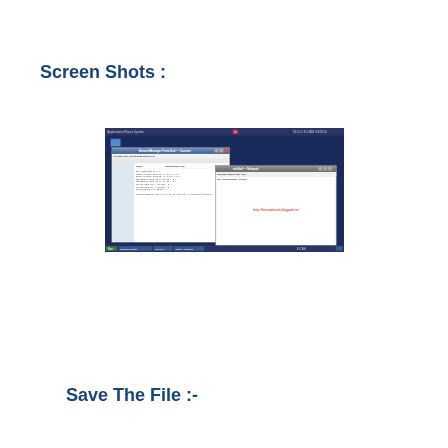Screen Shots :
[Figure (screenshot): A screenshot of a Linux desktop environment showing a file manager window with a list of files and their details, and a Notepad/text editor window open with a URL displayed in red text: http://linuxnettools.blogspot.in/]
Save The File :-